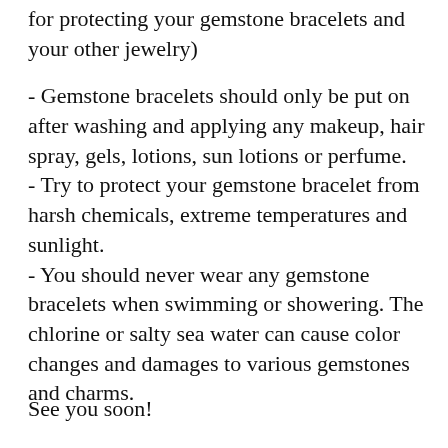for protecting your gemstone bracelets and your other jewelry)
- Gemstone bracelets should only be put on after washing and applying any makeup, hair spray, gels, lotions, sun lotions or perfume.
- Try to protect your gemstone bracelet from harsh chemicals, extreme temperatures and sunlight.
- You should never wear any gemstone bracelets when swimming or showering. The chlorine or salty sea water can cause color changes and damages to various gemstones and charms.
See you soon!